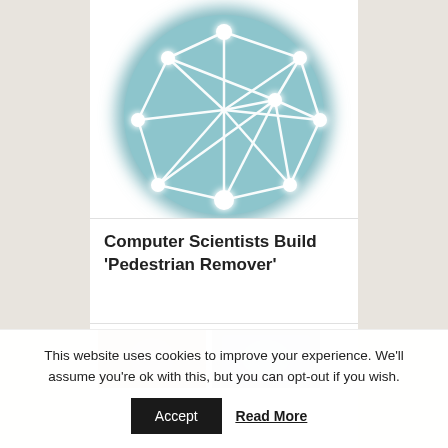[Figure (logo): A circular light teal/blue network graph logo with white interconnected nodes and edges on a blurred circular background]
Computer Scientists Build ‘Pedestrian Remover’
[Figure (photo): Two small thumbnail images of faces/people partially visible at the bottom of the content column]
This website uses cookies to improve your experience. We'll assume you're ok with this, but you can opt-out if you wish.